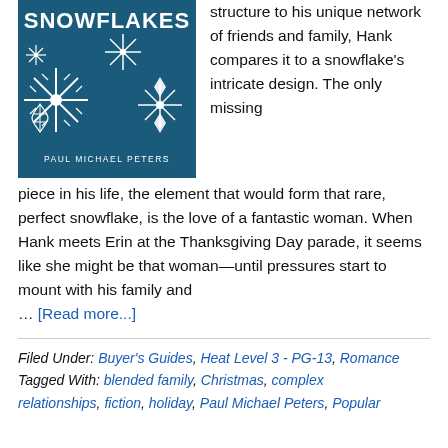[Figure (illustration): Book cover for 'Snowflakes' by Paul Michael Peters — dark teal/navy background with white snowflake illustrations and white text reading SNOWFLAKES at top and PAUL MICHAEL PETERS at bottom.]
structure to his unique network of friends and family, Hank compares it to a snowflake's intricate design. The only missing piece in his life, the element that would form that rare, perfect snowflake, is the love of a fantastic woman. When Hank meets Erin at the Thanksgiving Day parade, it seems like she might be that woman—until pressures start to mount with his family and ... [Read more...]
Filed Under: Buyer's Guides, Heat Level 3 - PG-13, Romance
Tagged With: blended family, Christmas, complex relationships, fiction, holiday, Paul Michael Peters, Popular
Filed Under: Buyer's Guides, Heat Level 3 - PG-13, Romance
Tagged With: blended family, Christmas, complex relationships, fiction, holiday, Paul Michael Peters, Popular